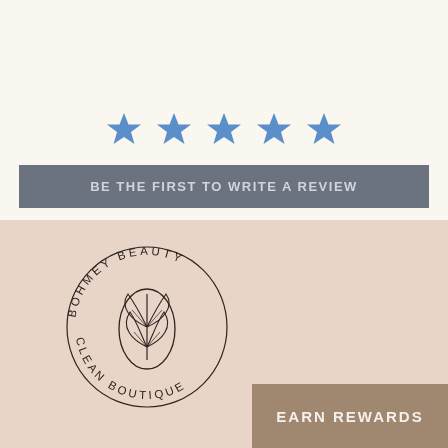[Figure (other): Five blue star icons arranged horizontally indicating a 5-star rating]
BE THE FIRST TO WRITE A REVIEW
[Figure (logo): Bohmey Beauty Clean Boutique circular logo with leaf/plant illustration in the center]
EARN REWARDS